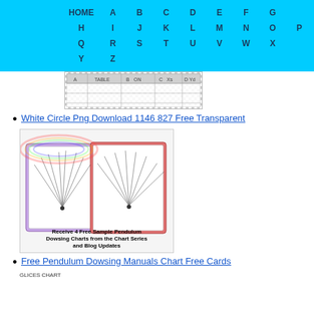HOME A B C D E F G H I J K L M N O P Q R S T U V W X Y Z
[Figure (table-as-image): Small table thumbnail with columns A, B, C, D and row labels]
White Circle Png Download 1146 827 Free Transparent
[Figure (illustration): Pendulum dowsing charts promotional image with text: Receive 4 Free Sample Pendulum Dowsing Charts from the Chart Series and Blog Updates]
Free Pendulum Dowsing Manuals Chart Free Cards
GLICES CHART